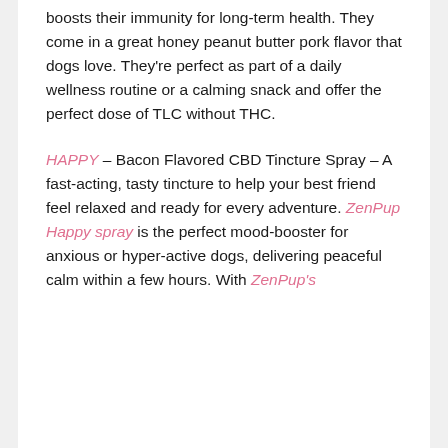boosts their immunity for long-term health. They come in a great honey peanut butter pork flavor that dogs love. They're perfect as part of a daily wellness routine or a calming snack and offer the perfect dose of TLC without THC.
HAPPY – Bacon Flavored CBD Tincture Spray – A fast-acting, tasty tincture to help your best friend feel relaxed and ready for every adventure. ZenPup Happy spray is the perfect mood-booster for anxious or hyper-active dogs, delivering peaceful calm within a few hours. With ZenPup's